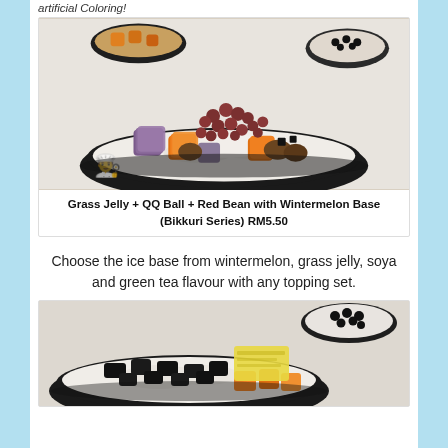artificial Coloring!
[Figure (photo): Bowl of shaved ice dessert with red beans, QQ balls, grass jelly, taro cubes, and orange fruit pieces on wintermelon base]
Grass Jelly + QQ Ball + Red Bean with Wintermelon Base (Bikkuri Series) RM5.50
Choose the ice base from wintermelon, grass jelly, soya and green tea flavour with any topping set.
[Figure (photo): Bowl of shaved ice dessert with grass jelly and toppings, partial view]